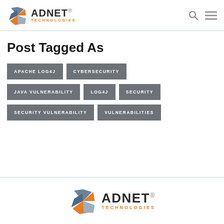[Figure (logo): ADNET Technologies logo in header with orange and grey pinwheel icon]
Post Tagged As
APACHE LOG4J
CYBERSECURITY
JAVA VULNERABILITY
LOG4J
SECURITY
SECURITY VULNERABILITY
VULNERABILITIES
[Figure (logo): ADNET Technologies logo in footer with orange and grey pinwheel icon, larger size]